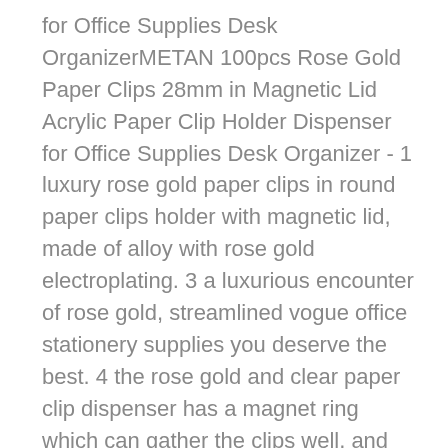for Office Supplies Desk OrganizerMETAN 100pcs Rose Gold Paper Clips 28mm in Magnetic Lid Acrylic Paper Clip Holder Dispenser for Office Supplies Desk Organizer - 1 luxury rose gold paper clips in round paper clips holder with magnetic lid, made of alloy with rose gold electroplating. 3 a luxurious encounter of rose gold, streamlined vogue office stationery supplies you deserve the best. 4 the rose gold and clear paper clip dispenser has a magnet ring which can gather the clips well, and each paper clip can hold 20 sheets paper at most. 2 100pcs rose gold paper clips medium 28mm(11”) size in 70mmx70mmx60mm(28”x28”x24”) acrylic paper clips holder. 5 package 100pcs paper clips in a rose gold clip dispensers per package.